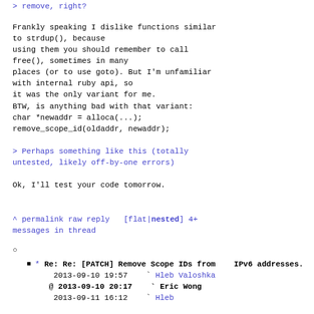> remove, right?
Frankly speaking I dislike functions similar
to strdup(), because
using them you should remember to call
free(), sometimes in many
places (or to use goto). But I'm unfamiliar
with internal ruby api, so
it was the only variant for me.
BTW, is anything bad with that variant:
char *newaddr = alloca(...);
remove_scope_id(oldaddr, newaddr);
> Perhaps something like this (totally
untested, likely off-by-one errors)
Ok, I'll test your code tomorrow.
^ permalink raw reply   [flat|nested] 4+
messages in thread
* Re: Re: [PATCH] Remove Scope IDs from IPv6 addresses.
2013-09-10 19:57   ` Hleb Valoshka
@ 2013-09-10 20:17   ` Eric Wong
2013-09-11 16:12   ` Hleb